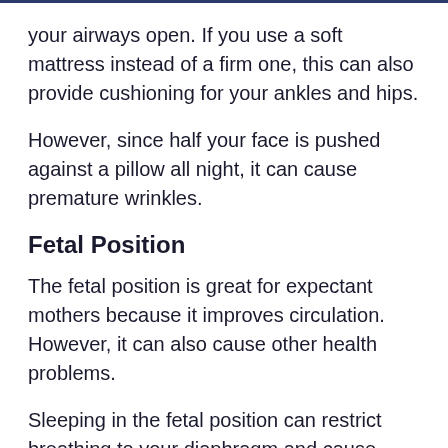your airways open. If you use a soft mattress instead of a firm one, this can also provide cushioning for your ankles and hips.
However, since half your face is pushed against a pillow all night, it can cause premature wrinkles.
Fetal Position
The fetal position is great for expectant mothers because it improves circulation. However, it can also cause other health problems.
Sleeping in the fetal position can restrict breathing to your diaphragm and cause your body to be sore in the morning if you are curled too tightly. It may also cause strain on your spine and hips, but you can